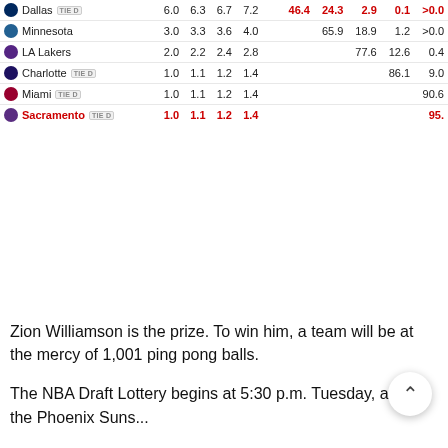| Team | Col1 | Col2 | Col3 | Col4 | C5 | C6 | C7 | C8 | C9 | C10 |
| --- | --- | --- | --- | --- | --- | --- | --- | --- | --- | --- |
| Dallas TIE D | 6.0 | 6.3 | 6.7 | 7.2 |  |  | 46.4 | 24.3 | 2.9 | 0.1 | >0.0 |
| Minnesota | 3.0 | 3.3 | 3.6 | 4.0 |  |  |  | 65.9 | 18.9 | 1.2 | >0.0 | >0. |
| LA Lakers | 2.0 | 2.2 | 2.4 | 2.8 |  |  |  |  | 77.6 | 12.6 | 0.4 | >0. |
| Charlotte TIE D | 1.0 | 1.1 | 1.2 | 1.4 |  |  |  |  |  | 86.1 | 9.0 | 0.: |
| Miami TIE D | 1.0 | 1.1 | 1.2 | 1.4 |  |  |  |  |  |  | 90.6 | 4.( |
| Sacramento TIE D | 1.0 | 1.1 | 1.2 | 1.4 |  |  |  |  |  |  |  | 95. |
Zion Williamson is the prize. To win him, a team will be at the mercy of 1,001 ping pong balls.
The NBA Draft Lottery begins at 5:30 p.m. Tuesday, and the Phoenix Suns...